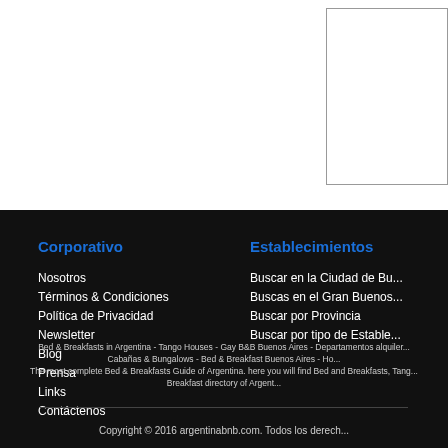Corporativo
Nosotros
Términos & Condiciones
Política de Privacidad
Newsletter
Blog
Prensa
Links
Contáctenos
Establecimientos
Buscar en la Ciudad de Bu...
Buscas en el Gran Buenos...
Buscar por Provincia
Buscar por tipo de Estable...
Bed & Breakfasts in Argentina - Tango Houses - Gay B&B Buenos Aires - Departamentos alquiler - Cabañas & Bungalows - Bed & Breakfast Buenos Aires - Ho... The most complete Bed & Breakfasts Guide of Argentina. here you will find Bed and Breakfasts, Tang... Breakfast directory of Argent...
Copyright © 2016 argentinabnb.com. Todos los derech...